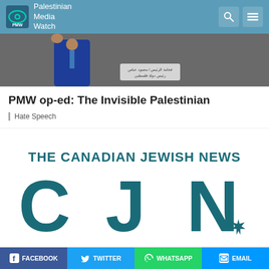Palestinian Media Watch (PMW)
[Figure (photo): Photo of a person at a podium with Arabic text on a sign, another person in green and black nearby]
PMW op-ed: The Invisible Palestinian
Hate Speech
[Figure (logo): The Canadian Jewish News (CJN) logo with large teal letters CJN and a maple leaf symbol]
FACEBOOK  TWITTER  WHATSAPP  EMAIL